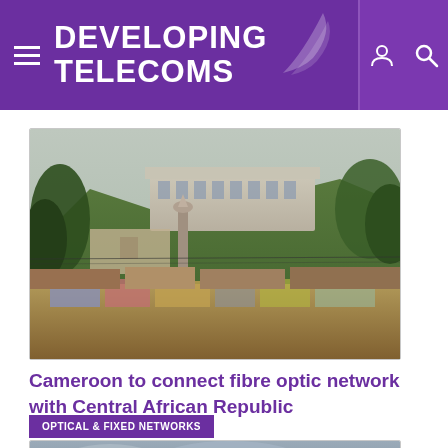DEVELOPING TELECOMS
[Figure (photo): Cityscape photo showing a large government building or palace on a green hill, with a minaret tower, surrounded by trees, and a crowded market/shantytown in the foreground.]
Cameroon to connect fibre optic network with Central African Republic
OPTICAL & FIXED NETWORKS
[Figure (photo): Partial landscape photo showing mountains or hills under cloudy skies (partially visible, cropped at bottom of page).]